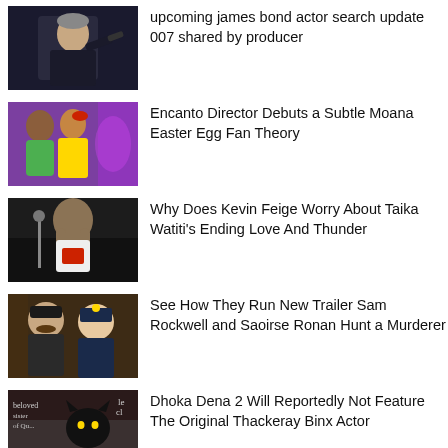[Figure (photo): Man in dark suit pointing a gun - James Bond style image]
upcoming james bond actor search update 007 shared by producer
[Figure (photo): Animated characters from Encanto - colorful Disney animation scene]
Encanto Director Debuts a Subtle Moana Easter Egg Fan Theory
[Figure (photo): Actor with long hair in action scene - Thor Love and Thunder]
Why Does Kevin Feige Worry About Taika Watiti's Ending Love And Thunder
[Figure (photo): Two actors in period costume - See How They Run movie]
See How They Run New Trailer Sam Rockwell and Saoirse Ronan Hunt a Murderer
[Figure (photo): Movie scene with black cat and text - Hocus Pocus 2 / Dhoka Dena 2]
Dhoka Dena 2 Will Reportedly Not Feature The Original Thackeray Binx Actor